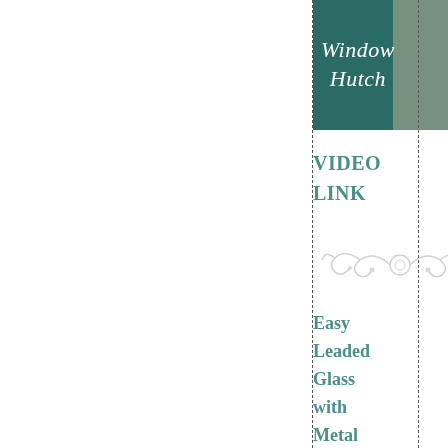[Figure (photo): Top image showing 'Window Hutch' text on teal/dark green background with decorative furniture piece visible on right side]
VIDEO LINK
[Figure (illustration): Decorative ornamental flourish / divider in light gray]
Easy Leaded Glass with Metal Tape!